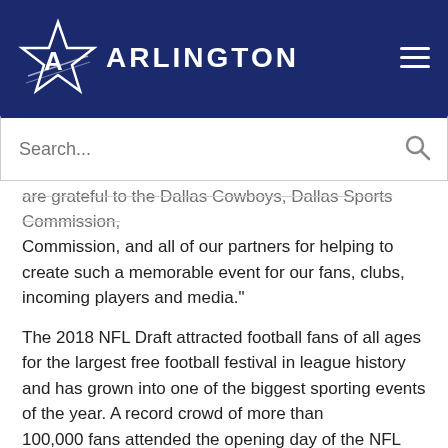[Figure (logo): City of Arlington star logo with 'ARLINGTON' text on dark navy blue header bar]
are grateful to the Dallas Cowboys, Dallas Sports Commission, and all of our partners for helping to create such a memorable event for our fans, clubs, incoming players and media."
The 2018 NFL Draft attracted football fans of all ages for the largest free football festival in league history and has grown into one of the biggest sporting events of the year. A record crowd of more than 100,000 fans attended the opening day of the NFL Draft and the NFL Draft Experience in The American Dream City